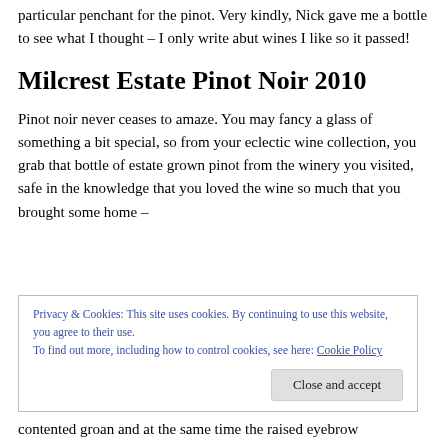particular penchant for the pinot. Very kindly, Nick gave me a bottle to see what I thought – I only write abut wines I like so it passed!
Milcrest Estate Pinot Noir 2010
Pinot noir never ceases to amaze. You may fancy a glass of something a bit special, so from your eclectic wine collection, you grab that bottle of estate grown pinot from the winery you visited, safe in the knowledge that you loved the wine so much that you brought some home –
Privacy & Cookies: This site uses cookies. By continuing to use this website, you agree to their use.
To find out more, including how to control cookies, see here: Cookie Policy
contented groan and at the same time the raised eyebrow